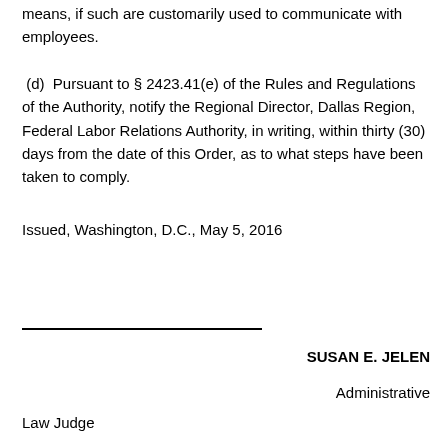means, if such are customarily used to communicate with employees.
(d)  Pursuant to § 2423.41(e) of the Rules and Regulations of the Authority, notify the Regional Director, Dallas Region, Federal Labor Relations Authority, in writing, within thirty (30) days from the date of this Order, as to what steps have been taken to comply.
Issued, Washington, D.C., May 5, 2016
SUSAN E. JELEN
Administrative Law Judge